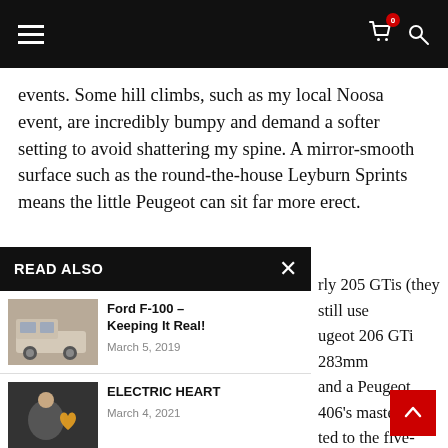Navigation bar with hamburger menu, cart icon with badge 0, and search icon
events. Some hill climbs, such as my local Noosa event, are incredibly bumpy and demand a softer setting to avoid shattering my spine. A mirror-smooth surface such as the round-the-house Leyburn Sprints means the little Peugeot can sit far more erect.
READ ALSO
Ford F-100 – Keeping It Real! March 5, 2019
ELECTRIC HEART March 4, 2021
War Hero February 14, 2020
rly 205 GTis (they still use ugeot 206 GTi 283mm and a Peugeot 406's master ted to the five-speed manual s are classic 15-inch Peugeot e, and I've shod them in al cut slick tyres. These were to the harsh ride, but o ey warm up rapidly and l t-lasting.